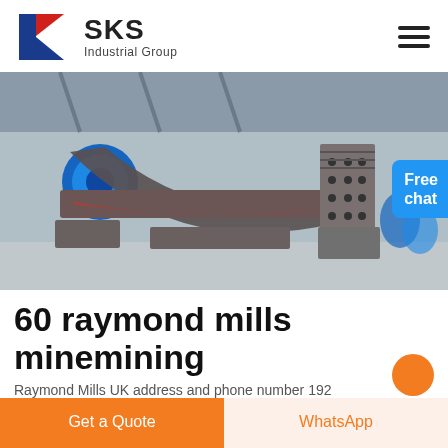[Figure (logo): SKS Industrial Group logo with red and blue K symbol]
[Figure (photo): Industrial mill machine component photographed in a factory/warehouse setting, showing a large curved grey cast iron frame with bolt holes]
60 raymond mills minemining
Raymond Mills UK address and phone number 192...